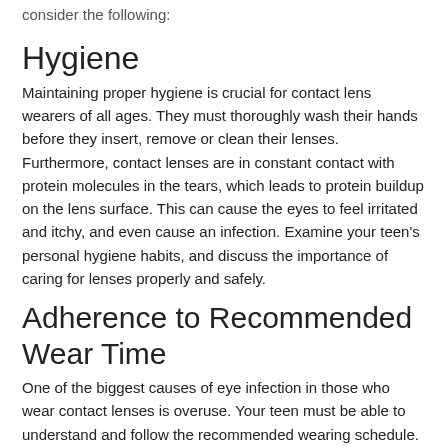consider the following:
Hygiene
Maintaining proper hygiene is crucial for contact lens wearers of all ages. They must thoroughly wash their hands before they insert, remove or clean their lenses. Furthermore, contact lenses are in constant contact with protein molecules in the tears, which leads to protein buildup on the lens surface. This can cause the eyes to feel irritated and itchy, and even cause an infection. Examine your teen's personal hygiene habits, and discuss the importance of caring for lenses properly and safely.
Adherence to Recommended Wear Time
One of the biggest causes of eye infection in those who wear contact lenses is overuse. Your teen must be able to understand and follow the recommended wearing schedule. If wearing a bi-weekly or monthly disposable lens, they would need to keep track of when to discard the current pair of lenses and open a new pair. Additionally, wearing contacts longer than recommended (such as overnight) can deprive the